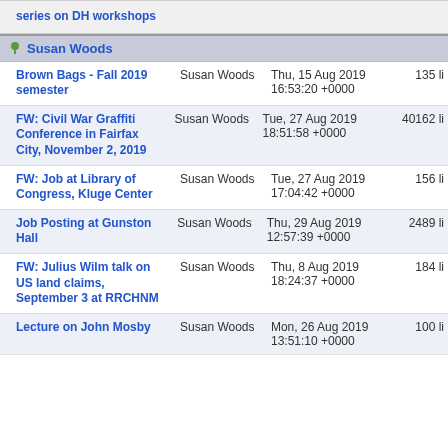| Subject | From | Date | Size |
| --- | --- | --- | --- |
| series on DH workshops |  |  |  |
| [GROUP] Susan Woods |  |  |  |
| Brown Bags - Fall 2019 semester | Susan Woods | Thu, 15 Aug 2019 16:53:20 +0000 | 135 li |
| FW: Civil War Graffiti Conference in Fairfax City, November 2, 2019 | Susan Woods | Tue, 27 Aug 2019 18:51:58 +0000 | 40162 li |
| FW: Job at Library of Congress, Kluge Center | Susan Woods | Tue, 27 Aug 2019 17:04:42 +0000 | 156 li |
| Job Posting at Gunston Hall | Susan Woods | Thu, 29 Aug 2019 12:57:39 +0000 | 2489 li |
| FW: Julius Wilm talk on US land claims, September 3 at RRCHNM | Susan Woods | Thu, 8 Aug 2019 18:24:37 +0000 | 184 li |
| Lecture on John Mosby | Susan Woods | Mon, 26 Aug 2019 13:51:10 +0000 | 100 li |